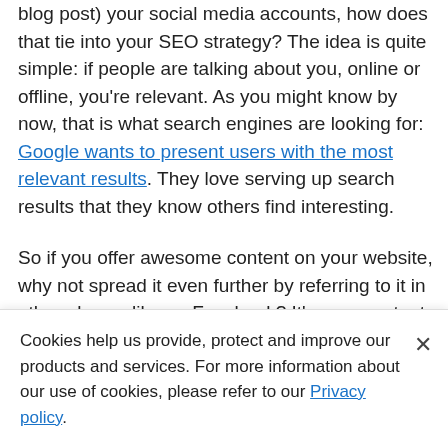blog post) your social media accounts, how does that tie into your SEO strategy? The idea is quite simple: if people are talking about you, online or offline, you're relevant. As you might know by now, that is what search engines are looking for: Google wants to present users with the most relevant results. They love serving up search results that they know others find interesting.
So if you offer awesome content on your website, why not spread it even further by referring to it in other places, like on Facebook? It's your content so it's yours to share. Help people discover you! By convincing people to click to find out more, read on, etc., your social media posts could...
Cookies help us provide, protect and improve our products and services. For more information about our use of cookies, please refer to our Privacy policy.